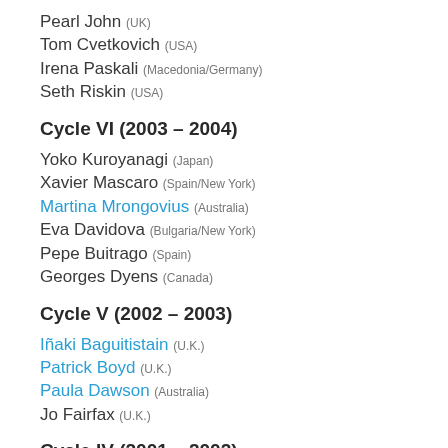Pearl John (UK)
Tom Cvetkovich (USA)
Irena Paskali (Macedonia/Germany)
Seth Riskin (USA)
Cycle VI (2003 – 2004)
Yoko Kuroyanagi (Japan)
Xavier Mascaro (Spain/New York)
Martina Mrongovius (Australia)
Eva Davidova (Bulgaria/New York)
Pepe Buitrago (Spain)
Georges Dyens (Canada)
Cycle V (2002 – 2003)
Iñaki Baguitistain (U.K.)
Patrick Boyd (U.K.)
Paula Dawson (Australia)
Jo Fairfax (U.K.)
Cycle IV (2001 – 2002)